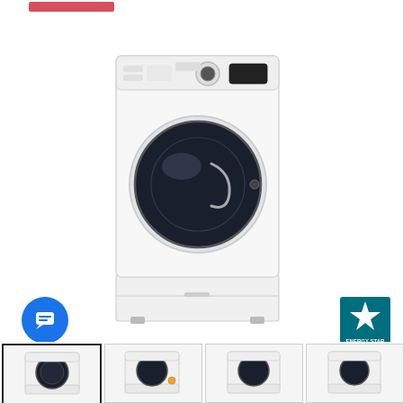[Figure (photo): Red sale/discount badge at top left of product page]
[Figure (photo): LG front-load dryer in white with black circular door, shown with matching pedestal base — main product image on e-commerce page]
[Figure (logo): Blue circular chat/messaging button with white chat bubble icon]
[Figure (logo): ENERGY STAR certification logo — teal/blue star with 'ENERGY STAR' text]
[Figure (photo): Thumbnail strip showing 4 alternate product images of the same LG dryer from various angles]
[Figure (photo): Thumbnail 1 (selected/active): front view of LG dryer]
[Figure (photo): Thumbnail 2: slightly angled view of LG dryer]
[Figure (photo): Thumbnail 3: close-up or alternate angle of LG dryer]
[Figure (photo): Thumbnail 4: side or detail view of LG dryer]